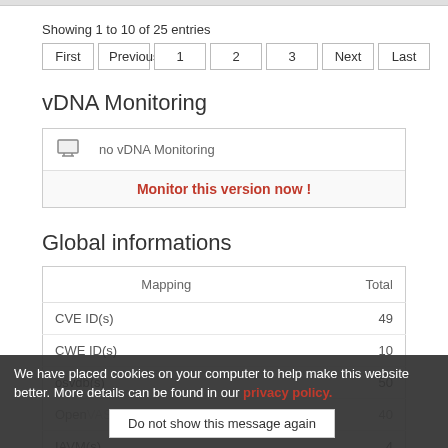Showing 1 to 10 of 25 entries
First | Previous | 1 | 2 | 3 | Next | Last
vDNA Monitoring
no vDNA Monitoring
Monitor this version now !
Global informations
| Mapping | Total |
| --- | --- |
| CVE ID(s) | 49 |
| CWE ID(s) | 10 |
| osvdb(s) | 50 |
| OpenVAS(s) | 40 |
| IAVM(s) | 4 |
| Snort® Rule(s) | 2 |
We have placed cookies on your computer to help make this website better. More details can be found in our privacy policy.
Do not show this message again